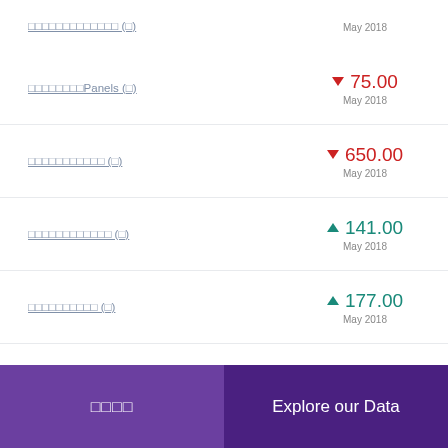▼ 75.00 May 2018 — □□□□□□□□Panels (□)
▼ 650.00 May 2018 — □□□□□□□□□□□ (□)
▲ 141.00 May 2018 — □□□□□□□□□□□□ (□)
▲ 177.00 May 2018 — □□□□□□□□□□ (□)
21.00 May 2018 — □□□□□□□□□□ (□)
□□□□ | Explore our Data